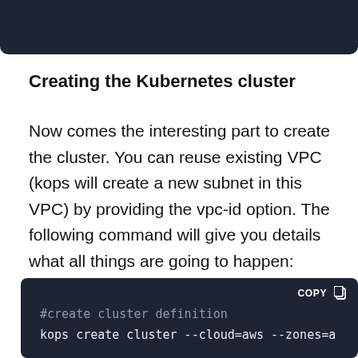[Figure (screenshot): Dark navy code block or header bar at the top of the page]
Creating the Kubernetes cluster
Now comes the interesting part to create the cluster. You can reuse existing VPC (kops will create a new subnet in this VPC) by providing the vpc-id option. The following command will give you details what all things are going to happen:
[Figure (screenshot): Dark code block showing: #create cluster definition comment, kops create cluster --cloud=aws --zones=a command line, and #create cluster comment]